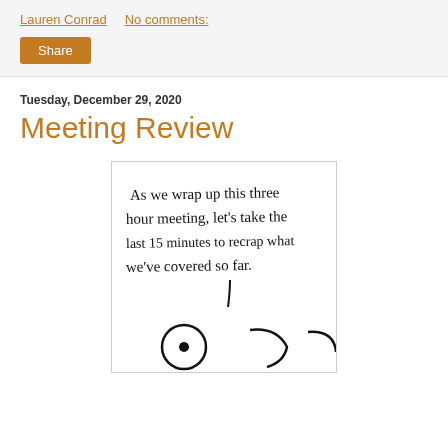Lauren Conrad    No comments:
Share
Tuesday, December 29, 2020
Meeting Review
[Figure (illustration): Handwritten note on white card reading: As we wrap up this three hour meeting, let's take the last 15 minutes to recrap what we've covered so far. Below the text are cartoon character eyes/faces partially visible.]